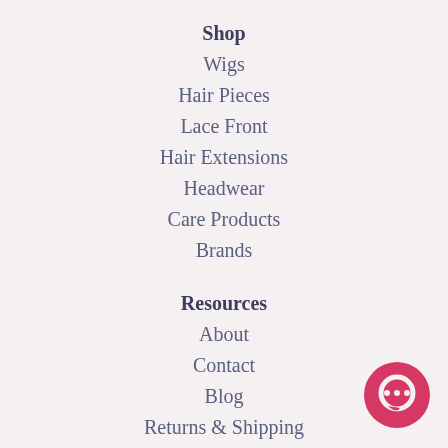Shop
Wigs
Hair Pieces
Lace Front
Hair Extensions
Headwear
Care Products
Brands
Resources
About
Contact
Blog
Returns & Shipping
Limited Warranty
Sitemap
[Figure (illustration): Pink/red circular chat bubble icon in bottom-right corner]